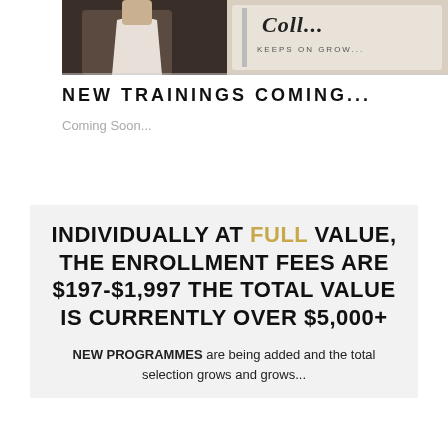[Figure (photo): Partial photo showing a person and a book/notebook with cursive text 'Coll... Keeps on Grow...' visible]
NEW TRAININGS COMING...
Coming Soon...
INDIVIDUALLY AT FULL VALUE, THE ENROLLMENT FEES ARE $197-$1,997 THE TOTAL VALUE IS CURRENTLY OVER $5,000+
NEW PROGRAMMES are being added and the total selection grows and grows...